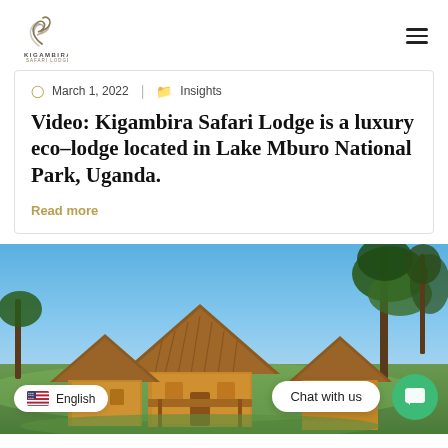Kigambira Safari Lodge — navigation header with logo and hamburger menu
March 1, 2022 | Insights
Video: Kigambira Safari Lodge is a luxury eco-lodge located in Lake Mburo National Park, Uganda.
Read more
[Figure (photo): Exterior photo of Kigambira Safari Lodge showing thatched-roof eco-lodge buildings set in lush green landscape with trees under a blue sky, with Chat with us bubble and English language selector overlay.]